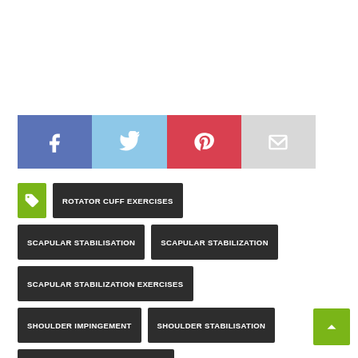[Figure (infographic): Social sharing buttons: Facebook (blue), Twitter (light blue), Pinterest (red), Email (light grey)]
ROTATOR CUFF EXERCISES
SCAPULAR STABILISATION
SCAPULAR STABILIZATION
SCAPULAR STABILIZATION EXERCISES
SHOULDER IMPINGEMENT
SHOULDER STABILISATION
SHOULDER STABILITY EXERCISES
SHOULDER STABILIZATION
SHOULDER STABILIZATION EXERCISES